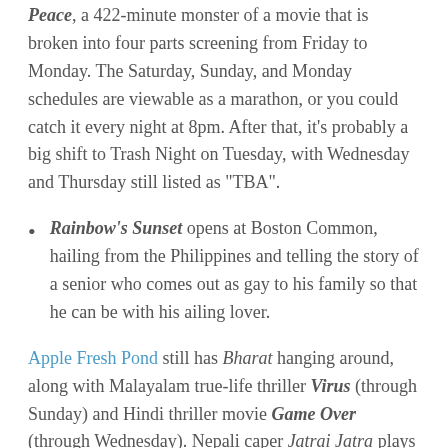Peace, a 422-minute monster of a movie that is broken into four parts screening from Friday to Monday. The Saturday, Sunday, and Monday schedules are viewable as a marathon, or you could catch it every night at 8pm. After that, it's probably a big shift to Trash Night on Tuesday, with Wednesday and Thursday still listed as "TBA".
Rainbow's Sunset opens at Boston Common, hailing from the Philippines and telling the story of a senior who comes out as gay to his family so that he can be with his ailing lover.
Apple Fresh Pond still has Bharat hanging around, along with Malayalam true-life thriller Virus (through Sunday) and Hindi thriller movie Game Over (through Wednesday). Nepali caper Jatrai Jatra plays Sunday, while Indian-American dark comedy Remember Amnesia plays